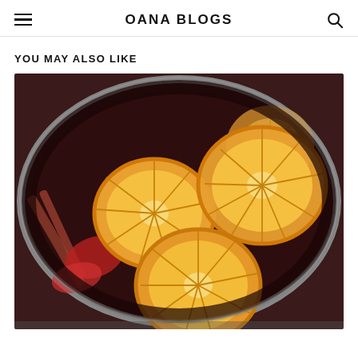OANA BLOGS
YOU MAY ALSO LIKE
[Figure (photo): A pot of mulled wine with orange slices and cinnamon sticks viewed from above, with dark red liquid and fruit garnishes.]